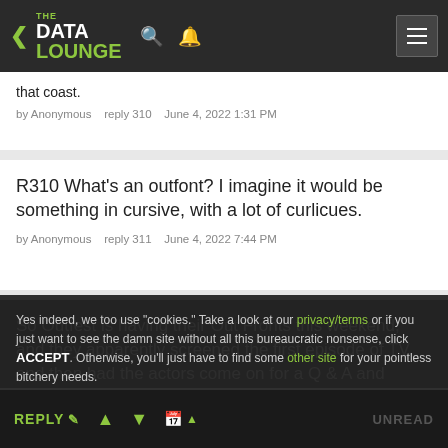THE DATA LOUNGE
that coast.
by Anonymous  reply 310  June 4, 2022 1:31 PM
R310 What's an outfont? I imagine it would be something in cursive, with a lot of curlicues.
by Anonymous  reply 311  June 4, 2022 7:44 PM
So Outfest is having their Out Fronts this weekend, and they apparently screened the first episode of TV, and then had the actors come on for a Q & A and Michael and for your pointless bitchery needs. Zoom or Whatever. And he blew the ending to the whole
Yes indeed, we too use "cookies." Take a look at our privacy/terms or if you just want to see the damn site without all this bureaucratic nonsense, click ACCEPT. Otherwise, you'll just have to find some other site for your pointless bitchery needs.
REPLY  UNREAD